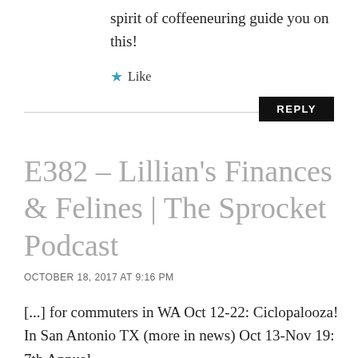spirit of coffeeneuring guide you on this!
★ Like
REPLY
E382 – Lillian's Finances & Felines | The Sprocket Podcast
OCTOBER 18, 2017 AT 9:16 PM
[...] for commuters in WA Oct 12-22: Ciclopalooza! In San Antonio TX (more in news) Oct 13-Nov 19: 7th Annual